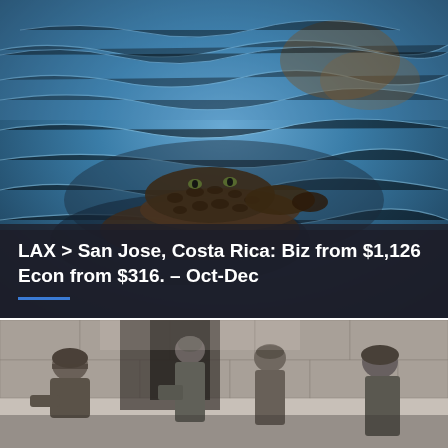[Figure (photo): Close-up photograph of a crocodile or alligator partially submerged in blue rippling water, showing its textured scaly head and skin.]
LAX > San Jose, Costa Rica: Biz from $1,126 Econ from $316. – Oct-Dec
[Figure (photo): Black and white photograph of bronze soldier statues at a war memorial, showing several figures in military gear and helmets against a stone wall backdrop.]